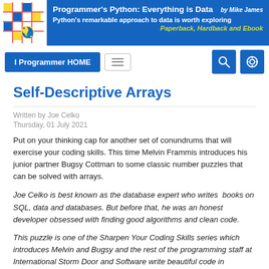Programmer's Python: Everything is Data by Mike James
Python's remarkable approach to data is worth exploring
Paperback, Hardback and Ebook
[Figure (logo): I Programmer logo with colored grid squares and Python logo]
I Programmer HOME
Self-Descriptive Arrays
Written by Joe Celko
Thursday, 01 July 2021
Put on your thinking cap for another set of conundrums that will exercise your coding skills. This time Melvin Frammis introduces his junior partner Bugsy Cottman to some classic number puzzles that can be solved with arrays.
Joe Celko is best known as the database expert who writes  books on SQL, data and databases. But before that, he was an honest developer obsessed with finding good algorithms and clean code.
This puzzle is one of the Sharpen Your Coding Skills series which introduces Melvin and Bugsy and the rest of the programming staff at International Storm Door and Software write beautiful code in whatever programming  language they have to hand.